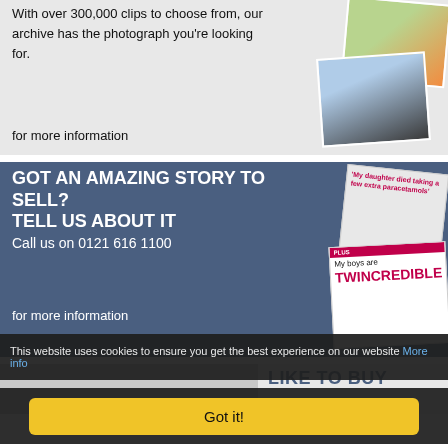With over 300,000 clips to choose from, our archive has the photograph you're looking for.
CLICK HERE
for more information
[Figure (photo): Two overlapping photos: one of a nature/food subject on green background, one of a motorcyclist in snowy conditions]
GOT AN AMAZING STORY TO SELL? TELL US ABOUT IT
Call us on 0121 616 1100
CLICK HERE
for more information
[Figure (photo): Two overlapping magazine covers: one with headline 'My daughter died taking a few extra paracetamols', one with 'My boys are TWINCREDIBLE']
LIKE TO BUY
This website uses cookies to ensure you get the best experience on our website More info
Got it!